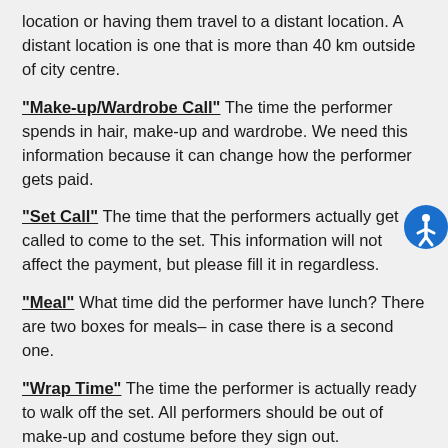location or having them travel to a distant location. A distant location is one that is more than 40 km outside of city centre.
"Make-up/Wardrobe Call" The time the performer spends in hair, make-up and wardrobe. We need this information because it can change how the performer gets paid.
"Set Call" The time that the performers actually get called to come to the set. This information will not affect the payment, but please fill it in regardless.
"Meal" What time did the performer have lunch? There are two boxes for meals– in case there is a second one.
"Wrap Time" The time the performer is actually ready to walk off the set. All performers should be out of make-up and costume before they sign out.
"Travel Travel" The time...